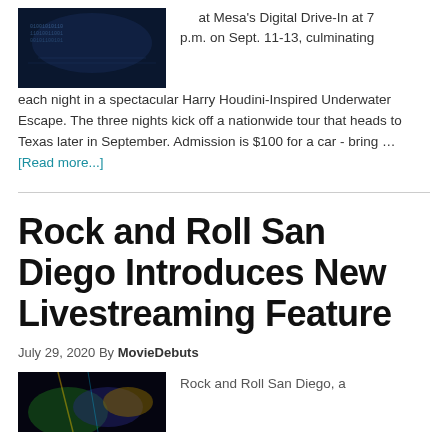[Figure (photo): Dark blue sci-fi themed image, possibly movie poster or event graphic]
at Mesa's Digital Drive-In at 7 p.m. on Sept. 11-13, culminating each night in a spectacular Harry Houdini-Inspired Underwater Escape. The three nights kick off a nationwide tour that heads to Texas later in September. Admission is $100 for a car - bring … [Read more...]
Rock and Roll San Diego Introduces New Livestreaming Feature
July 29, 2020 By MovieDebuts
[Figure (photo): Colorful concert lighting image with blues, greens, and yellows]
Rock and Roll San Diego, a